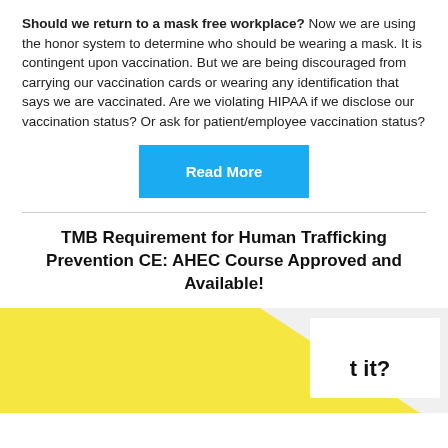Should we return to a mask free workplace? Now we are using the honor system to determine who should be wearing a mask. It is contingent upon vaccination. But we are being discouraged from carrying our vaccination cards or wearing any identification that says we are vaccinated. Are we violating HIPAA if we disclose our vaccination status? Or ask for patient/employee vaccination status?
[Figure (other): Blue 'Read More' button]
TMB Requirement for Human Trafficking Prevention CE: AHEC Course Approved and Available!
[Figure (photo): Photo with blue and yellow background, showing text '...t it?' on what appears to be a document or sign]